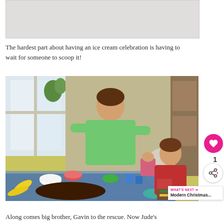[Figure (photo): Partially visible photo at top of page, appears to be an ice cream party scene — cropped, showing mostly light/white background]
The hardest part about having an ice cream celebration is having to wait for someone to scoop it!
[Figure (photo): Photo of two boys at an ice cream party table. An older boy in a green polo shirt is scooping ice cream from a pink container. A younger boy in a red shirt sits nearby smiling. The table is covered with a blue floral tablecloth and has bananas, colorful bowls, blue cups, and various ice cream toppings.]
Along comes big brother, Gavin to the rescue. Now Jude's